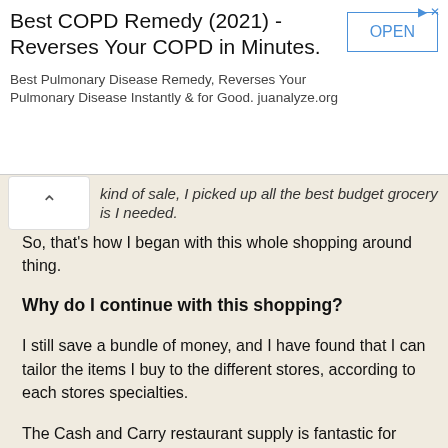[Figure (other): Advertisement banner: 'Best COPD Remedy (2021) - Reverses Your COPD in Minutes. Best Pulmonary Disease Remedy, Reverses Your Pulmonary Disease Instantly & for Good. juanalyze.org' with an OPEN button.]
kind of sale, I picked up all the best budget grocery items I needed.
So, that's how I began with this whole shopping around thing.
Why do I continue with this shopping?
I still save a bundle of money, and I have found that I can tailor the items I buy to the different stores, according to each stores specialties.
The Cash and Carry restaurant supply is fantastic for bulk-buying baking ingredients, as I do bake a lot, and large bags of dried beans and brown rice for our vegetarian meals. QFC is the more upscale grocery store near us, and has some of the best meat in the area, that is, for a chain grocery. Trader Joe's is my go-to place for organics, like tofu and soymilk, as